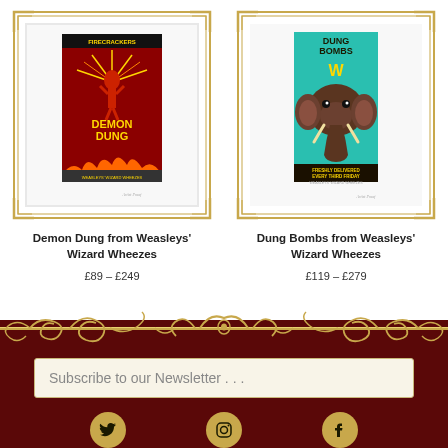[Figure (illustration): Product listing image for 'Demon Dung from Weasleys' Wizard Wheezes' — a vintage-style poster showing a red figure with fireworks and text 'FIRECRACKERS DEMON DUNG', mounted in a white mat within a gold ornamental border frame]
Demon Dung from Weasleys' Wizard Wheezes
£89 – £249
[Figure (illustration): Product listing image for 'Dung Bombs from Weasleys' Wizard Wheezes' — a vintage-style poster showing a large elephant on teal background with text 'DUNG BOMBS W FRESHLY DELIVERED EVERY THIRD FRIDAY', mounted in a white mat within a gold ornamental border frame]
Dung Bombs from Weasleys' Wizard Wheezes
£119 – £279
[Figure (illustration): Decorative gold ornamental divider bar with scrollwork and flourishes separating white product area from dark red footer]
Subscribe to our Newsletter . . .
[Figure (illustration): Social media icons row: Twitter bird icon, Instagram camera icon, Facebook F icon — all on gold circular backgrounds]